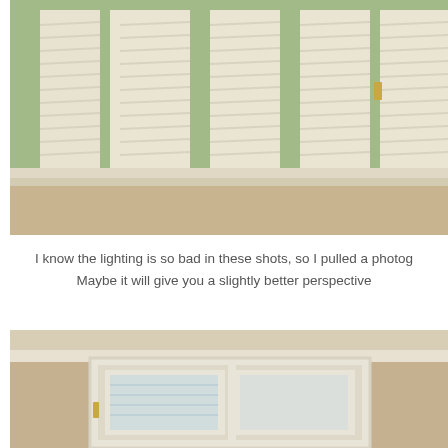[Figure (photo): Interior photo showing white plantation shutters on windows with green foliage visible through the slats, cream/beige walls and window trim below]
I know the lighting is so bad in these shots, so I pulled a photog... Maybe it will give you a slightly better perspective
[Figure (photo): Interior photo showing white window shutters/trim with a gold handle, tan/beige walls visible]